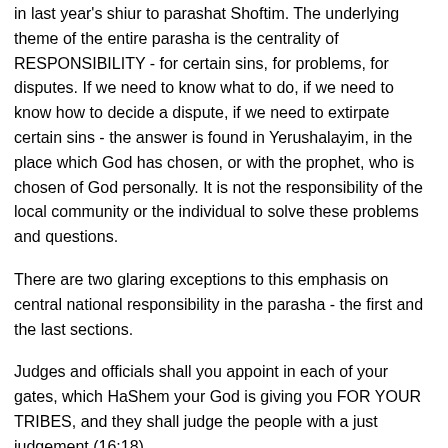in last year's shiur to parashat Shoftim. The underlying theme of the entire parasha is the centrality of RESPONSIBILITY - for certain sins, for problems, for disputes. If we need to know what to do, if we need to know how to decide a dispute, if we need to extirpate certain sins - the answer is found in Yerushalayim, in the place which God has chosen, or with the prophet, who is chosen of God personally. It is not the responsibility of the local community or the individual to solve these problems and questions.
There are two glaring exceptions to this emphasis on central national responsibility in the parasha - the first and the last sections.
Judges and officials shall you appoint in each of your gates, which HaShem your God is giving you FOR YOUR TRIBES, and they shall judge the people with a just judgement (16:18).